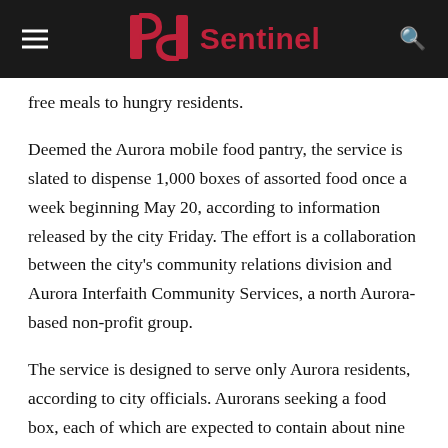Sentinel
free meals to hungry residents.
Deemed the Aurora mobile food pantry, the service is slated to dispense 1,000 boxes of assorted food once a week beginning May 20, according to information released by the city Friday. The effort is a collaboration between the city's community relations division and Aurora Interfaith Community Services, a north Aurora-based non-profit group.
The service is designed to serve only Aurora residents, according to city officials. Aurorans seeking a food box, each of which are expected to contain about nine meals worth of food, are instructed to arrive at any one of the pantry's changing locations with a valid photo ID. Those without an ID must prove their Aurora residency by other means.